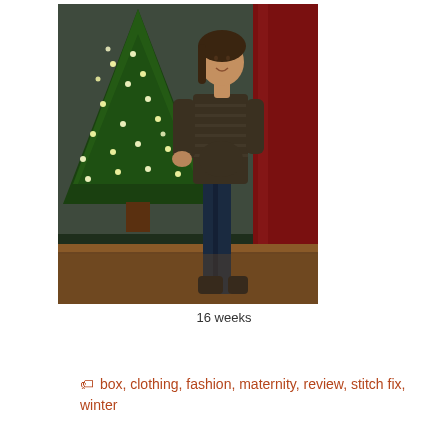[Figure (photo): A pregnant woman standing next to a decorated Christmas tree with string lights. She is wearing a dark striped top and jeans. There is a red curtain in the background on the right side and a wooden floor.]
16 weeks
🏷 box, clothing, fashion, maternity, review, stitch fix, winter